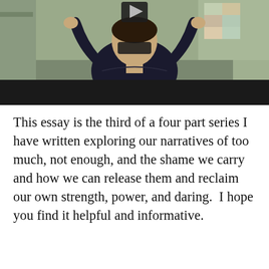[Figure (photo): A video thumbnail or paused video frame showing a person in a dark long-sleeve shirt with arms raised, set in a room with colorful background. A play button is visible at the top center, and a dark/black bar occupies the lower portion of the video frame.]
This essay is the third of a four part series I have written exploring our narratives of too much, not enough, and the shame we carry and how we can release them and reclaim our own strength, power, and daring.  I hope you find it helpful and informative.